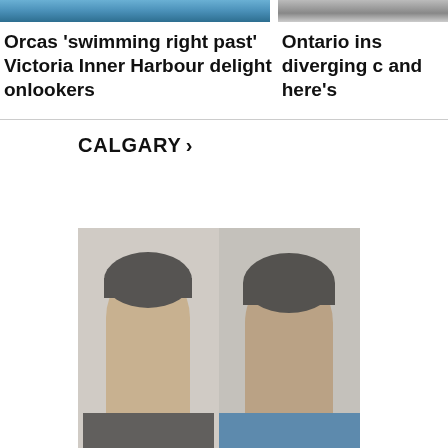[Figure (photo): Partial view of orca/ocean photo on the left]
[Figure (photo): Partial view of a second article image on the right]
Orcas 'swimming right past' Victoria Inner Harbour delight onlookers
Ontario ins diverging c and here's
CALGARY >
[Figure (photo): Mug shot style photo showing two men side by side against a light background]